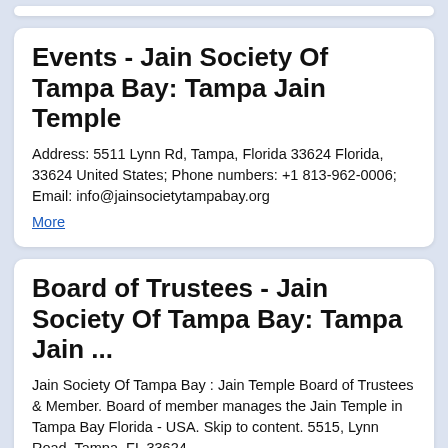Events - Jain Society Of Tampa Bay: Tampa Jain Temple
Address: 5511 Lynn Rd, Tampa, Florida 33624 Florida, 33624 United States; Phone numbers: +1 813-962-0006; Email: info@jainsocietytampabay.org
More
Board of Trustees - Jain Society Of Tampa Bay: Tampa Jain ...
Jain Society Of Tampa Bay : Jain Temple Board of Trustees & Member. Board of member manages the Jain Temple in Tampa Bay Florida - USA. Skip to content. 5515, Lynn Road, Tampa, FL 33624. Member Login. Jain Society Of Tampa Bay: Tampa